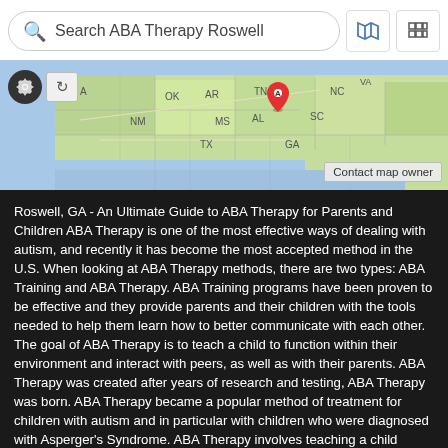[Figure (screenshot): Mobile app search bar with text 'Search ABA Therapy Roswell', map icon, and grid icon]
[Figure (map): Google Maps screenshot showing southeastern United States with a pin marker over Tennessee/Georgia area, with states labeled: OK, AR, TN, NC, NM, MS, AL, SC, TX, GA. Gear icon and refresh button overlay on left. 'Contact map owner' button on bottom right.]
Roswell, GA - An Ultimate Guide to ABA Therapy for Parents and Children ABA Therapy is one of the most effective ways of dealing with autism, and recently it has become the most accepted method in the U.S. When looking at ABA Therapy methods, there are two types: ABA Training and ABA Therapy. ABA Training programs have been proven to be effective and they provide parents and their children with the tools needed to help them learn how to better communicate with each other. The goal of ABA Therapy is to teach a child to function within their environment and interact with peers, as well as with their parents. ABA Therapy was created after years of research and testing, ABA Therapy was born. ABA Therapy became a popular method of treatment for children with autism and in particular with children who were diagnosed with Asperger's Syndrome. ABA Therapy involves teaching a child essential verbal skills so that they can communicate with their peers and with their parents as well. However, ABA Training can often be difficult for parents due to their lack of experience with teaching. ABA Therapy is quite simple, but it takes time and effort for parents to make sure that their children understand what is being taught. Also, ABA Training may include rigid formal teaching, which some parents may not prefer due to its rigid nature. If you're looking for an alternative method of teaching your child with autism, ABA Therapy is highly recommended. ABA Therapy for autism is widely accepted throughout the country, and many local schools offer ABA Therapy as a part of their curriculum. ABA Therapy can also be found online, and while it doesn't offer the in-person interactivity that is found with ABA Therapy, it can still be a very beneficial resource for you or your child if you're looking for alternative ways of dealing with autism. ABA Therapy can teach children with autism how to